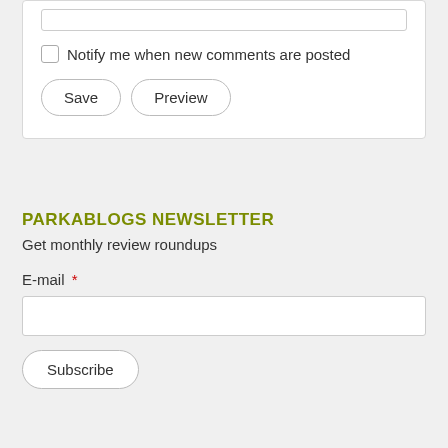[Figure (screenshot): White form card with a text input box at top, a checkbox labeled 'Notify me when new comments are posted', and two buttons labeled 'Save' and 'Preview']
Notify me when new comments are posted
PARKABLOGS NEWSLETTER
Get monthly review roundups
E-mail *
Subscribe